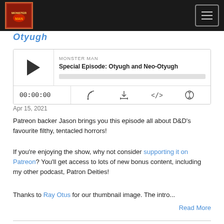Monster Man podcast page header with logo and hamburger menu
Otyugh
[Figure (screenshot): Podcast audio player with play button, episode title 'Special Episode: Otyugh and Neo-Otyugh', progress bar, time display 00:00:00, and control icons for cast, download, embed, and share]
Apr 15, 2021
Patreon backer Jason brings you this episode all about D&D's favourite filthy, tentacled horrors!
If you're enjoying the show, why not consider supporting it on Patreon? You'll get access to lots of new bonus content, including my other podcast, Patron Deities!
Thanks to Ray Otus for our thumbnail image. The intro...
Read More